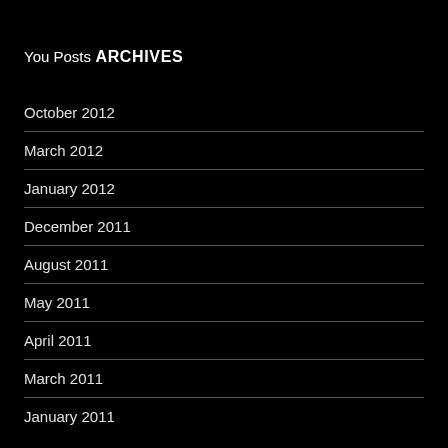You Posts
ARCHIVES
October 2012
March 2012
January 2012
December 2011
August 2011
May 2011
April 2011
March 2011
January 2011